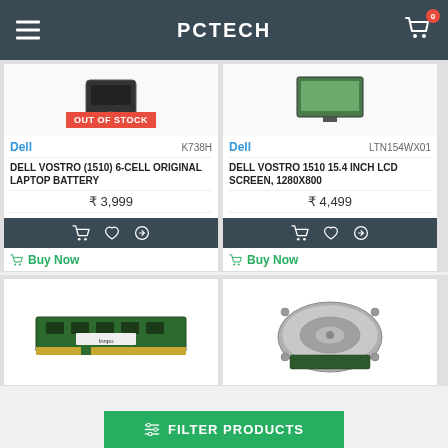PCTECH
[Figure (screenshot): Product image for Dell Vostro battery, with OUT OF STOCK badge]
[Figure (screenshot): Product image for Dell Vostro LCD screen]
Dell  K738H
Dell  LTN154WX01
DELL VOSTRO (1510) 6-CELL ORIGINAL LAPTOP BATTERY
DELL VOSTRO 1510 15.4 INCH LCD SCREEN, 1280X800
₹ 3,999
₹ 4,499
Buy Now
Buy Now
[Figure (photo): RAM stick (green PCB) product image]
[Figure (photo): Hard disk drive product image]
FILTER PRODUCTS